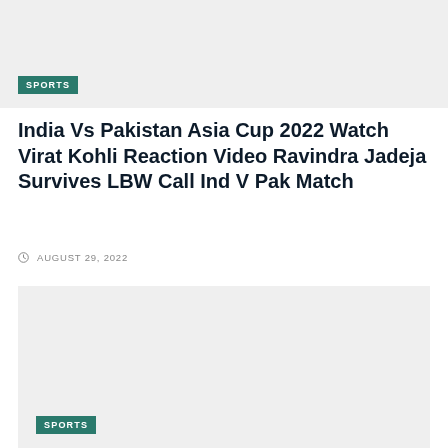[Figure (photo): Gray placeholder image block with SPORTS badge]
India Vs Pakistan Asia Cup 2022 Watch Virat Kohli Reaction Video Ravindra Jadeja Survives LBW Call Ind V Pak Match
AUGUST 29, 2022
[Figure (photo): Gray placeholder image block with SPORTS badge at bottom]